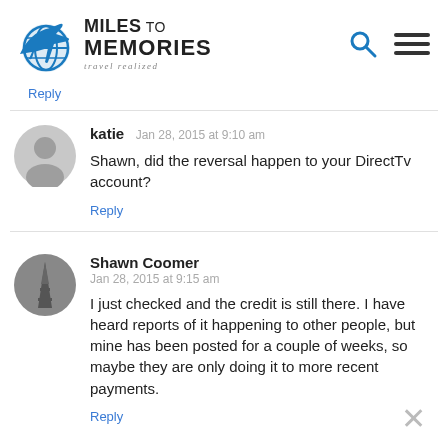Miles to Memories - travel realized
Reply
katie Jan 28, 2015 at 9:10 am
Shawn, did the reversal happen to your DirectTv account?
Reply
Shawn Coomer Jan 28, 2015 at 9:15 am
I just checked and the credit is still there. I have heard reports of it happening to other people, but mine has been posted for a couple of weeks, so maybe they are only doing it to more recent payments.
Reply